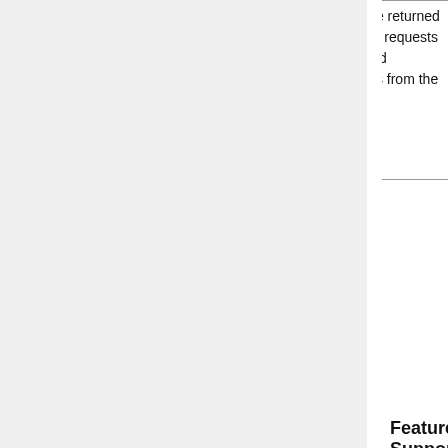| Supports Returning Different Claims in ID Token and UserInfo Endpoint | Test Condition | Expected Result (Pass) | Expected Result (Fail) |
| --- | --- | --- | --- |
|  | email and claims be returned in the ID Token and requests the given_name and family_name claims from the UserInfo endpoint | Claims are returned from locations requested | Claims are not returned or are returned at the wrong location |
Tests
OC5:FeatureTest-Supports Returning Different Claims in ID Token and UserInfo Endpoint
Feature: Supports Combining